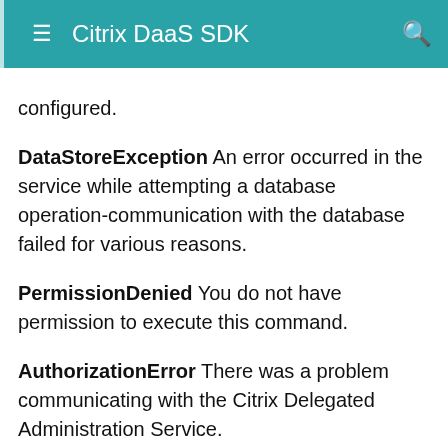Citrix DaaS SDK
configured. DataStoreException An error occurred in the service while attempting a database operation-communication with the database failed for various reasons. PermissionDenied You do not have permission to execute this command. AuthorizationError There was a problem communicating with the Citrix Delegated Administration Service. ConfigurationLoggingError The operation could not be performed because of a configuration logging error. CommunicationError There was a problem communicating with the remote service. ExceptionThrown An unexpected error occurred. For more details, see the Windows event logs on the controller or the Citrix Virtual Apps and Desktops logs